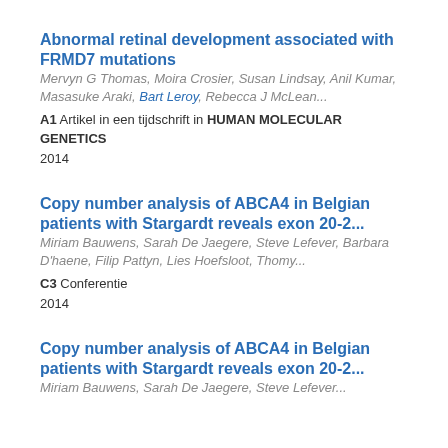Abnormal retinal development associated with FRMD7 mutations
Mervyn G Thomas, Moira Crosier, Susan Lindsay, Anil Kumar, Masasuke Araki, Bart Leroy, Rebecca J McLean... A1 Artikel in een tijdschrift in HUMAN MOLECULAR GENETICS 2014
Copy number analysis of ABCA4 in Belgian patients with Stargardt reveals exon 20-2...
Miriam Bauwens, Sarah De Jaegere, Steve Lefever, Barbara D'haene, Filip Pattyn, Lies Hoefsloot, Thomy... C3 Conferentie 2014
Copy number analysis of ABCA4 in Belgian patients with Stargardt reveals exon 20-2...
Miriam Bauwens, Sarah De Jaegere, Steve Lefever...